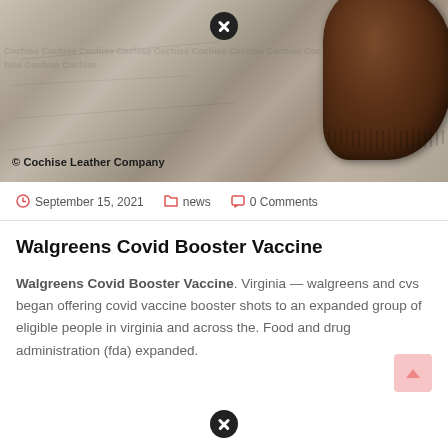[Figure (photo): Photo showing a textured stone/concrete surface with a brown leather item (wallet or pouch) in the upper right corner. Text overlay reads '© Cochise Leather Company'. A close/X button appears at the top center of the image.]
September 15, 2021   news   0 Comments
Walgreens Covid Booster Vaccine
Walgreens Covid Booster Vaccine. Virginia — walgreens and cvs began offering covid vaccine booster shots to an expanded group of eligible people in virginia and across the. Food and drug administration (fda) expanded.